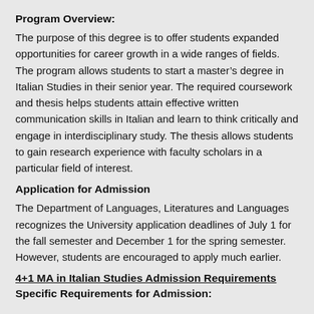Program Overview:
The purpose of this degree is to offer students expanded opportunities for career growth in a wide ranges of fields. The program allows students to start a master’s degree in Italian Studies in their senior year. The required coursework and thesis helps students attain effective written communication skills in Italian and learn to think critically and engage in interdisciplinary study. The thesis allows students to gain research experience with faculty scholars in a particular field of interest.
Application for Admission
The Department of Languages, Literatures and Languages recognizes the University application deadlines of July 1 for the fall semester and December 1 for the spring semester. However, students are encouraged to apply much earlier.
4+1 MA in Italian Studies Admission Requirements
Specific Requirements for Admission: